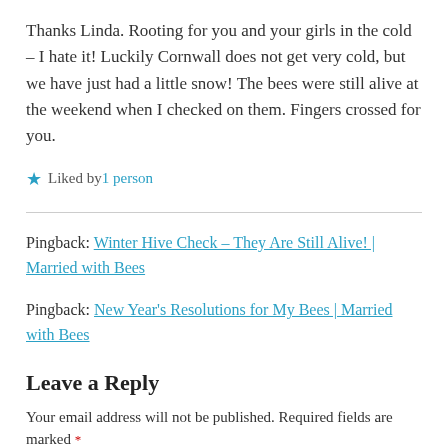Thanks Linda. Rooting for you and your girls in the cold – I hate it! Luckily Cornwall does not get very cold, but we have just had a little snow! The bees were still alive at the weekend when I checked on them. Fingers crossed for you.
★ Liked by 1 person
Pingback: Winter Hive Check – They Are Still Alive! | Married with Bees
Pingback: New Year's Resolutions for My Bees | Married with Bees
Leave a Reply
Your email address will not be published. Required fields are marked *